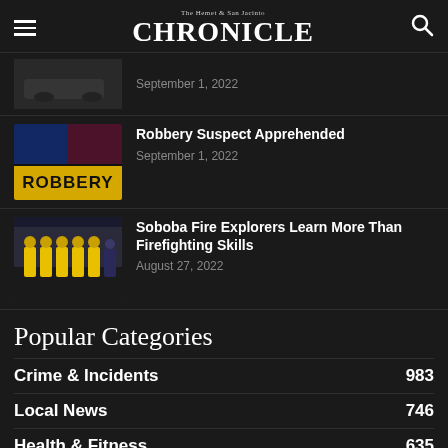The Hemet & San Jacinto CHRONICLE
[Figure (photo): Blurred photo of a car, possibly police-related]
September 1, 2022
[Figure (photo): Photo of police lights with ROBBERY text overlay]
Robbery Suspect Apprehended
September 1, 2022
[Figure (photo): Photo of fire explorers in yellow gear]
Soboba Fire Explorers Learn More Than Firefighting Skills
August 27, 2022
Popular Categories
Crime & Incidents 983
Local News 746
Health & Fitness 635